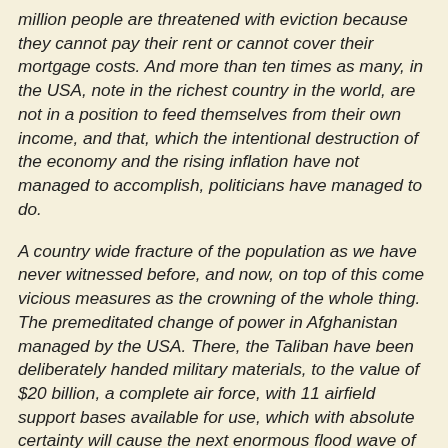million people are threatened with eviction because they cannot pay their rent or cannot cover their mortgage costs. And more than ten times as many, in the USA, note in the richest country in the world, are not in a position to feed themselves from their own income, and that, which the intentional destruction of the economy and the rising inflation have not managed to accomplish, politicians have managed to do.
A country wide fracture of the population as we have never witnessed before, and now, on top of this come vicious measures as the crowning of the whole thing. The premeditated change of power in Afghanistan managed by the USA. There, the Taliban have been deliberately handed military materials, to the value of $20 billion, a complete air force, with 11 airfield support bases available for use, which with absolute certainty will cause the next enormous flood wave of refugees. Why this, one asks oneself?